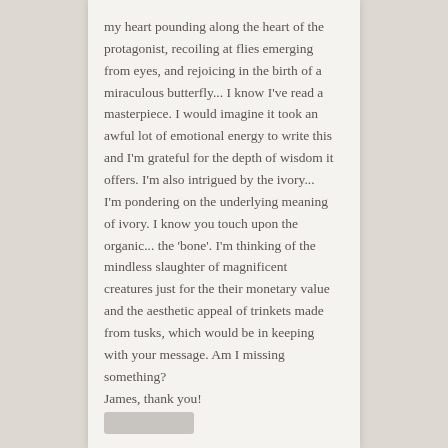my heart pounding along the heart of the protagonist, recoiling at flies emerging from eyes, and rejoicing in the birth of a miraculous butterfly... I know I've read a masterpiece. I would imagine it took an awful lot of emotional energy to write this and I'm grateful for the depth of wisdom it offers. I'm also intrigued by the ivory... I'm pondering on the underlying meaning of ivory. I know you touch upon the organic... the 'bone'. I'm thinking of the mindless slaughter of magnificent creatures just for the their monetary value and the aesthetic appeal of trinkets made from tusks, which would be in keeping with your message. Am I missing something?
James, thank you!